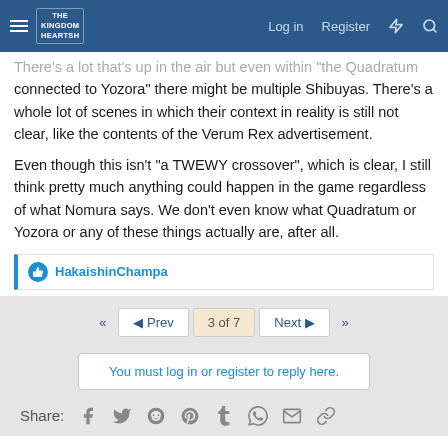Navigation bar with menu, logo, Log in, Register, lightning icon, search icon
There's a lot that's up in the air but even within "the Quadratum connected to Yozora" there might be multiple Shibuyas. There's a whole lot of scenes in which their context in reality is still not clear, like the contents of the Verum Rex advertisement.
Even though this isn't "a TWEWY crossover", which is clear, I still think pretty much anything could happen in the game regardless of what Nomura says. We don't even know what Quadratum or Yozora or any of these things actually are, after all.
HakaishinChampa
3 of 7
You must log in or register to reply here.
Share: